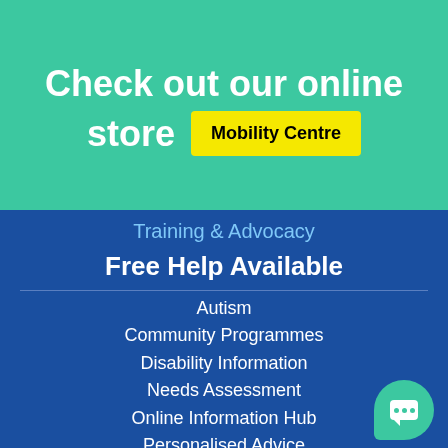Check out our online store
Mobility Centre
Training & Advocacy
Free Help Available
Autism
Community Programmes
Disability Information
Needs Assessment
Online Information Hub
Personalised Advice